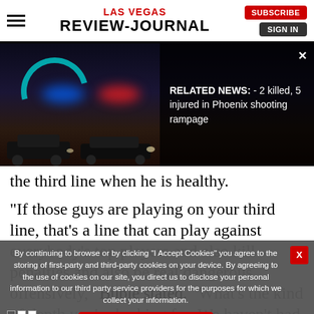LAS VEGAS REVIEW-JOURNAL | SUBSCRIBE | SIGN IN
[Figure (photo): Nighttime police scene with blue and red emergency lights, dark urban background. Overlay shows related news: '2 killed, 5 injured in Phoenix shooting rampage']
the third line when he is healthy.
“If those guys are playing on your third line, that’s a line that can play against everybody’s top players and also kill penalties and also be real dangerous offensively,” Bublé stated. “What’s the kind of depth you’re looking for. We haven’t had that luxury yet to get everybody in.”
By continuing to browse or by clicking “I Accept Cookies” you agree to the storing of first-party and third-party cookies on your device. By agreeing to the use of cookies on our site, you direct us to disclose your personal information to our third party service providers for the purposes for which we collect your information.
I Accept Cookies